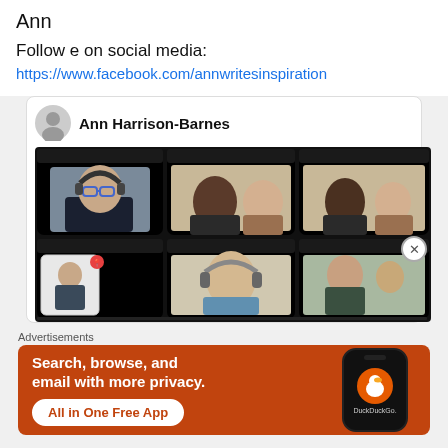Ann
Follow e on social media:
https://www.facebook.com/annwritesinspiration
[Figure (screenshot): Facebook post by Ann Harrison-Barnes showing a video call grid with multiple participants including a person with headphones and glasses, two people on a video call, an elderly person, and a young woman.]
Advertisements
[Figure (screenshot): DuckDuckGo advertisement banner with orange background: 'Search, browse, and email with more privacy. All in One Free App' with DuckDuckGo logo on phone graphic.]